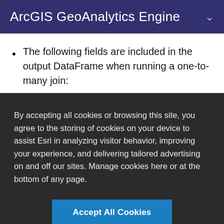ArcGIS GeoAnalytics Engine
The following fields are included in the output DataFrame when running a one-to-many join:
By accepting all cookies or browsing this site, you agree to the storing of cookies on your device to assist Esri in analyzing visitor behavior, improving your experience, and delivering tailored advertising on and off our sites. Manage cookies here or at the bottom of any page.
Accept All Cookies
Cookies Settings